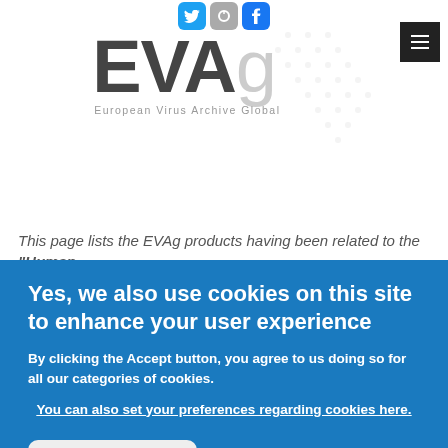[Figure (logo): EVAg (European Virus Archive Global) logo with social media icons and decorative globe dot pattern]
This page lists the EVAg products having been related to the "Human
Yes, we also use cookies on this site to enhance your user experience
By clicking the Accept button, you agree to us doing so for all our categories of cookies.
You can also set your preferences regarding cookies here.
Accept cookies